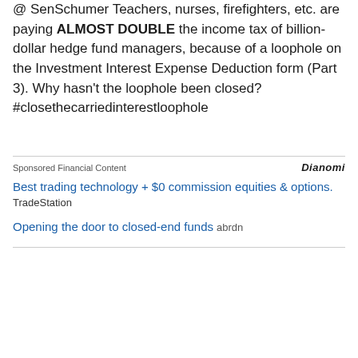@ SenSchumer Teachers, nurses, firefighters, etc. are paying ALMOST DOUBLE the income tax of billion-dollar hedge fund managers, because of a loophole on the Investment Interest Expense Deduction form (Part 3). Why hasn't the loophole been closed? #closethecarriedinterestloophole
Sponsored Financial Content | Dianomi
Best trading technology + $0 commission equities & options. TradeStation
Opening the door to closed-end funds abrdn